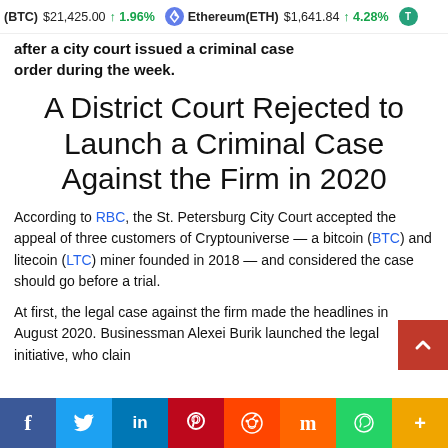(BTC) $21,425.00 ↑ 1.96%   Ethereum(ETH) $1,641.84 ↑ 4.28%   T
after a city court issued a criminal case order during the week.
A District Court Rejected to Launch a Criminal Case Against the Firm in 2020
According to RBC, the St. Petersburg City Court accepted the appeal of three customers of Cryptouniverse — a bitcoin (BTC) and litecoin (LTC) miner founded in 2018 — and considered the case should go before a trial.
At first, the legal case against the firm made the headlines in August 2020. Businessman Alexei Burik launched the legal initiative, who clain